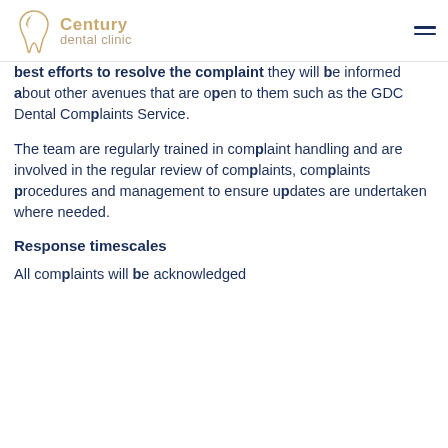Century dental clinic
best efforts to resolve the complaint they will be informed about other avenues that are open to them such as the GDC Dental Complaints Service.
The team are regularly trained in complaint handling and are involved in the regular review of complaints, complaints procedures and management to ensure updates are undertaken where needed.
Response timescales
All complaints will be acknowledged